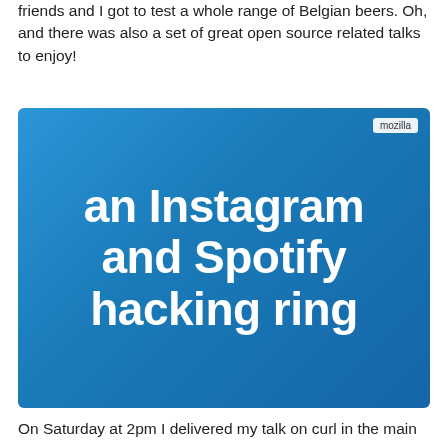friends and I got to test a whole range of Belgian beers. Oh, and there was also a set of great open source related talks to enjoy!
[Figure (screenshot): Blue slide with white bold text reading 'an Instagram and Spotify hacking ring', with a 'mozilla' badge in the top right corner]
On Saturday at 2pm I delivered my talk on curl in the main